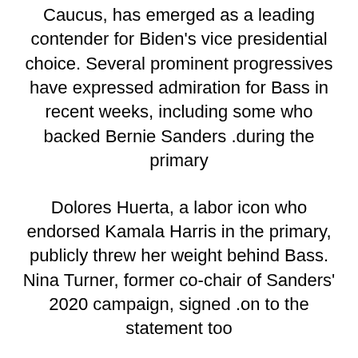Caucus, has emerged as a leading contender for Biden's vice presidential choice. Several prominent progressives have expressed admiration for Bass in recent weeks, including some who backed Bernie Sanders during the primary.
Dolores Huerta, a labor icon who endorsed Kamala Harris in the primary, publicly threw her weight behind Bass. Nina Turner, former co-chair of Sanders' 2020 campaign, signed on to the statement too.
"Congresswoman Bass would make an excellent vice president," Turner said. "Her commitment to the grassroots is evident in her work from activist to the California legislature to the Congress. She has a record